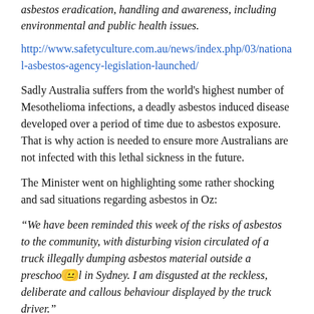asbestos eradication, handling and awareness, including environmental and public health issues.
http://www.safetyculture.com.au/news/index.php/03/national-asbestos-agency-legislation-launched/
Sadly Australia suffers from the world's highest number of Mesothelioma infections, a deadly asbestos induced disease developed over a period of time due to asbestos exposure. That is why action is needed to ensure more Australians are not infected with this lethal sickness in the future.
The Minister went on highlighting some rather shocking and sad situations regarding asbestos in Oz:
“We have been reminded this week of the risks of asbestos to the community, with disturbing vision circulated of a truck illegally dumping asbestos material outside a preschool in Sydney. I am disgusted at the reckless, deliberate and callous behaviour displayed by the truck driver.”